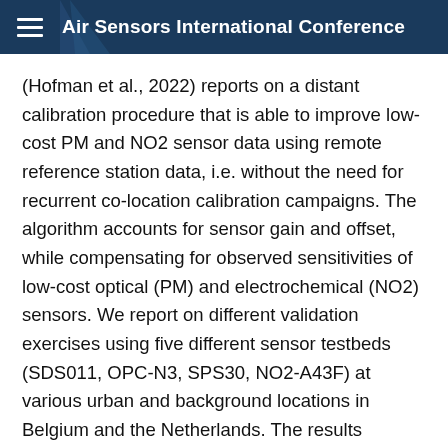Air Sensors International Conference
(Hofman et al., 2022) reports on a distant calibration procedure that is able to improve low-cost PM and NO2 sensor data using remote reference station data, i.e. without the need for recurrent co-location calibration campaigns. The algorithm accounts for sensor gain and offset, while compensating for observed sensitivities of low-cost optical (PM) and electrochemical (NO2) sensors. We report on different validation exercises using five different sensor testbeds (SDS011, OPC-N3, SPS30, NO2-A43F) at various urban and background locations in Belgium and the Netherlands. The results demonstrate that the distant calibration approach improves the sensor data quality (accuracy, linearity and correlation) up to sensitizing and supplementary (EU Class 1) data quality levels and can be scaled to different sensor networks.